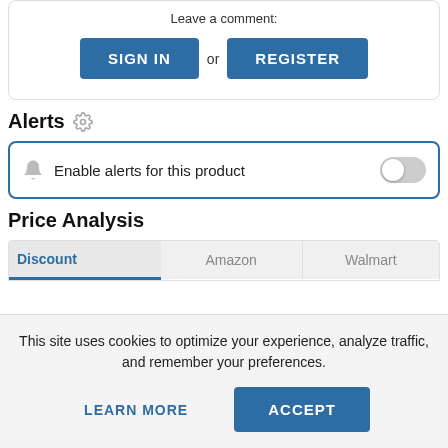Leave a comment:
SIGN IN or REGISTER
Alerts
Enable alerts for this product
Price Analysis
| Discount | Amazon | Walmart |
| --- | --- | --- |
This site uses cookies to optimize your experience, analyze traffic, and remember your preferences.
LEARN MORE
ACCEPT